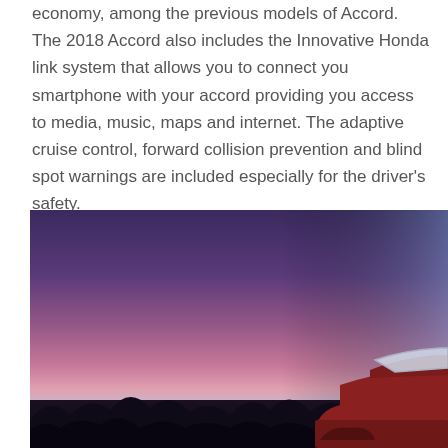economy, among the previous models of Accord. The 2018 Accord also includes the Innovative Honda link system that allows you to connect you smartphone with your accord providing you access to media, music, maps and internet. The adaptive cruise control, forward collision prevention and blind spot warnings are included especially for the driver's safety.
[Figure (photo): A Honda Accord car photographed at dusk/twilight with a purple-pink-blue gradient sky behind it. The car is partially visible on the right side of the image. Dark silhouettes of trees line the horizon.]